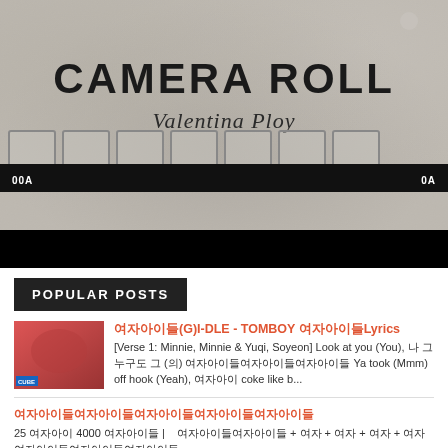[Figure (illustration): Album art for 'Camera Roll' by Valentina Ploy. Black and white film strip image with handwritten-style text. Shows 'CAMERA ROLL' in bold uppercase and 'Valentina Ploy' in cursive script.]
POPULAR POSTS
여자아이들(G)I-DLE - TOMBOY 여자아이들Lyrics
[Verse 1: Minnie, Minnie & Yuqi, Soyeon] Look at you (You), 나 그 누구도 그 (의) 여자아이들여자아이들여자아이들 Ya took (Mmm) off hook (Yeah), 여자아이 coke like b...
여자아이들여자아이들여자아이들여자아이들여자아이들
25 여자아이 4000 여자아이들 |    여자아이들여자아이들 + 여자 + 여자 + 여자 + 여자 여자아이들여자아이들여자아이들